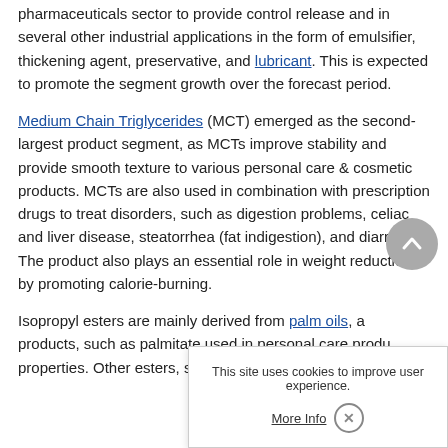pharmaceuticals sector to provide control release and in several other industrial applications in the form of emulsifier, thickening agent, preservative, and lubricant. This is expected to promote the segment growth over the forecast period.
Medium Chain Triglycerides (MCT) emerged as the second-largest product segment, as MCTs improve stability and provide smooth texture to various personal care & cosmetic products. MCTs are also used in combination with prescription drugs to treat disorders, such as digestion problems, celiac and liver disease, steatorrhea (fat indigestion), and diarrhea. The product also plays an essential role in weight reduction by promoting calorie-burning.
Isopropyl esters are mainly derived from palm oils, and products, such as palmitate used in personal care products properties. Other esters, such as...